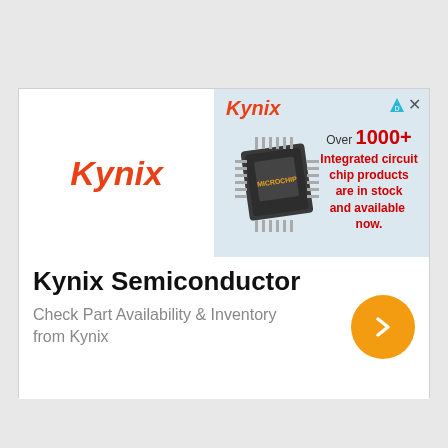[Figure (illustration): Kynix Semiconductor advertisement card. Top half shows a banner with Kynix logo in red italic on left (white background) and a blue-grey right section with Kynix logo, a Microchip IC chip photo, and red/dark text: 'Over 1000+ Integrated circuit chip products are in stock and available now.' Bottom half on white shows bold black title 'Kynix Semiconductor', grey subtitle 'Check Part Availability & Inventory from Kynix', and an orange circle arrow button on the right.]